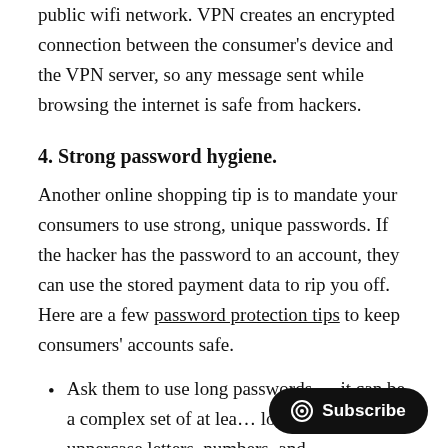public wifi network. VPN creates an encrypted connection between the consumer's device and the VPN server, so any message sent while browsing the internet is safe from hackers.
4. Strong password hygiene.
Another online shopping tip is to mandate your consumers to use strong, unique passwords. If the hacker has the password to an account, they can use the stored payment data to rip you off. Here are a few password protection tips to keep consumers' accounts safe.
Ask them to use long passwords — it can be a complex set of at least lowercase and uppercase letters, numbers, and